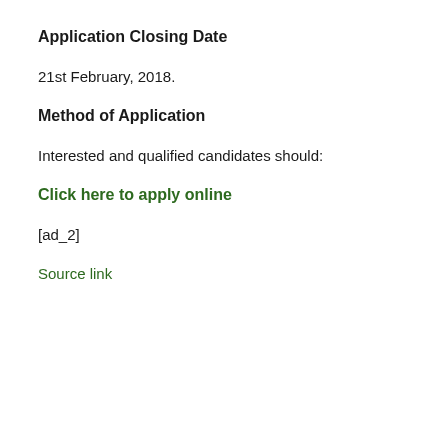Application Closing Date
21st February, 2018.
Method of Application
Interested and qualified candidates should:
Click here to apply online
[ad_2]
Source link